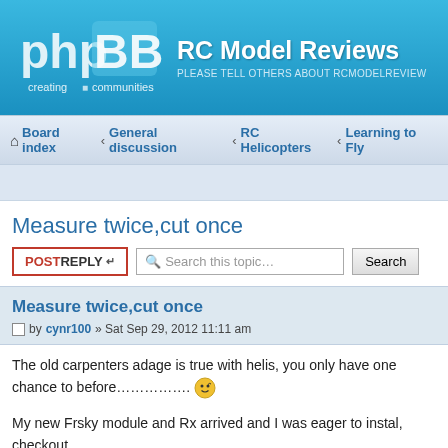RC Model Reviews — phpBB forum header. PLEASE TELL OTHERS ABOUT RCMODELREVIEW
Board index › General discussion › RC Helicopters › Learning to Fly
Measure twice,cut once
POSTREPLY | Search this topic… | Search
Measure twice,cut once
by cynr100 » Sat Sep 29, 2012 11:11 am
The old carpenters adage is true with helis, you only have one chance to before............... [emoji]
My new Frsky module and Rx arrived and I was eager to instal, checkout on my mule 450 (my trainer and test bed). A quick check to ensure all functions are working then out to the training area............... [emoji]
This...